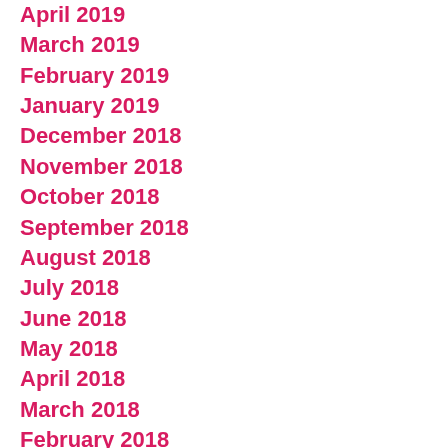April 2019
March 2019
February 2019
January 2019
December 2018
November 2018
October 2018
September 2018
August 2018
July 2018
June 2018
May 2018
April 2018
March 2018
February 2018
January 2018